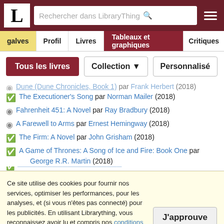LibraryThing — Rechercher dans LibraryThing
galves | Profil | Livres | Tableaux et graphiques | Critiques
Tous les livres | Collection ▼ | Personnalisé
Dune (Dune Chronicles, Book 1) par Frank Herbert (2018)
The Executioner's Song par Norman Mailer (2018)
Fahrenheit 451: A Novel par Ray Bradbury (2018)
A Farewell to Arms par Ernest Hemingway (2018)
The Firm: A Novel par John Grisham (2018)
A Game of Thrones: A Song of Ice and Fire: Book One par George R.R. Martin (2018)
Ce site utilise des cookies pour fournir nos services, optimiser les performances, pour les analyses, et (si vous n'êtes pas connecté) pour les publicités. En utilisant Librarything, vous reconnaissez avoir lu et compris nos conditions générales d'utilisation et de services. Votre utilisation du site et de ses services vaut acceptation de ces conditions et termes.